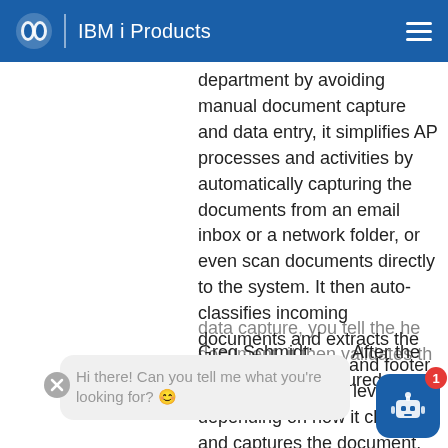IBM i Products
department by avoiding manual document capture and data entry, it simplifies AP processes and activities by automatically capturing the documents from an email inbox or a network folder, or even scan documents directly to the system. It then auto-classifies incoming documents and extracts the data at the header and footer and line item detail level, depending on how it classifies and captures the document.
Greg Schmidt:  After the data capture, you tell the he document, it then validates the data to your configured business
Hi there! Can you tell me what you're looking for? 😊